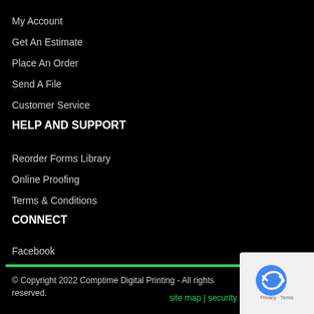My Account
Get An Estimate
Place An Order
Send A File
Customer Service
HELP AND SUPPORT
Reorder Forms Library
Online Proofing
Terms & Conditions
CONNECT
Facebook
© Copyright 2022 Comptime Digital Printing - All rights reserved.
site map | security
[Figure (logo): reCAPTCHA logo badge with Privacy - Terms text]